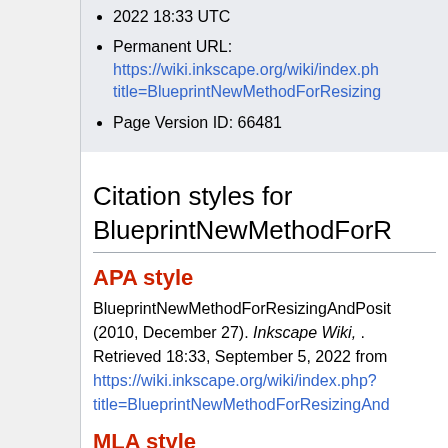2022 18:33 UTC
Permanent URL: https://wiki.inkscape.org/wiki/index.php?title=BlueprintNewMethodForResizing
Page Version ID: 66481
Citation styles for BlueprintNewMethodForR
APA style
BlueprintNewMethodForResizingAndPosit (2010, December 27). Inkscape Wiki, . Retrieved 18:33, September 5, 2022 from https://wiki.inkscape.org/wiki/index.php?title=BlueprintNewMethodForResizingAnd
MLA style